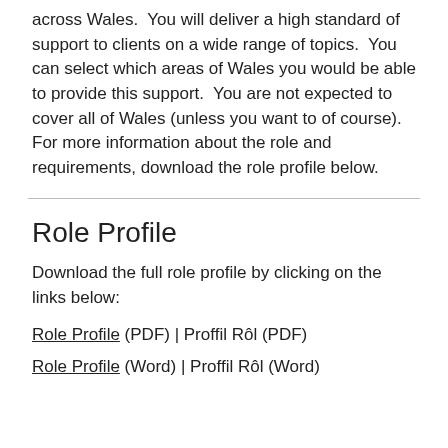across Wales.  You will deliver a high standard of support to clients on a wide range of topics.  You can select which areas of Wales you would be able to provide this support.  You are not expected to cover all of Wales (unless you want to of course).  For more information about the role and requirements, download the role profile below.
Role Profile
Download the full role profile by clicking on the links below:
Role Profile (PDF) | Proffil Rôl (PDF)
Role Profile (Word) | Proffil Rôl (Word)